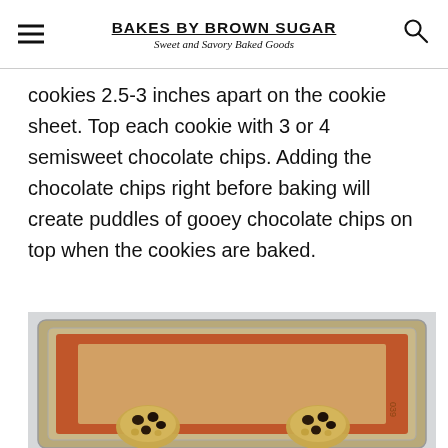BAKES BY BROWN SUGAR — Sweet and Savory Baked Goods
cookies 2.5-3 inches apart on the cookie sheet. Top each cookie with 3 or 4 semisweet chocolate chips. Adding the chocolate chips right before baking will create puddles of gooey chocolate chips on top when the cookies are baked.
[Figure (photo): A silver baking sheet with a silicone baking mat (orange/tan colored), showing two raw cookie dough balls topped with chocolate chips, ready to be baked.]